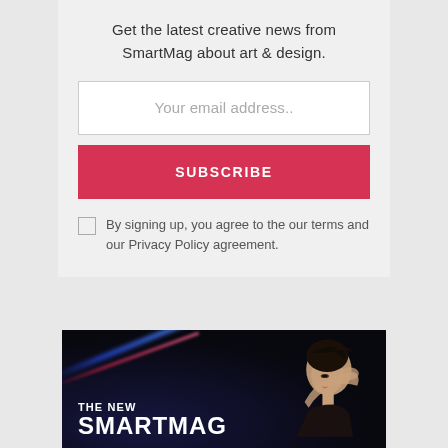Get the latest creative news from SmartMag about art & design.
Your email address..
SUBSCRIBE
By signing up, you agree to the our terms and our Privacy Policy agreement.
[Figure (photo): Dark advertisement banner with a woman posing with her arm raised, blue and red light streaks, text reading 'THE NEW SMARTMAG']